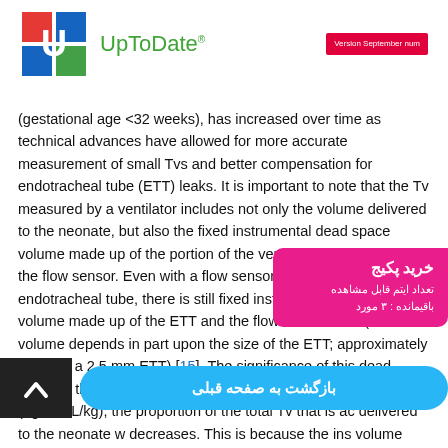[Figure (logo): UpToDate logo with colorful U icon and green UpToDate text, plus red version badge]
(gestational age <32 weeks), has increased over time as technical advances have allowed for more accurate measurement of small Tvs and better compensation for endotracheal tube (ETT) leaks. It is important to note that the Tv measured by a ventilator includes not only the volume delivered to the neonate, but also the fixed instrumental dead space volume made up of the portion of the ventilator circuit distal to the flow sensor. Even with a flow sensor just above the endotracheal tube, there is still fixed instrumental dead space volume made up of the ETT and the flow sensor itself (the volume depends in part upon the size of the ETT; approximately 3 mL for a 2.5 mm ETT) [15]. The significance of this dead space is that when using VTV with a weight-based Tv target, (eg, 5 mL/kg), the proportion of the total Tv that is actually delivered to the neonate with increasing weight decreases. This is because the instrumental dead space volume remains fixed regardless of the neonate's weight, and